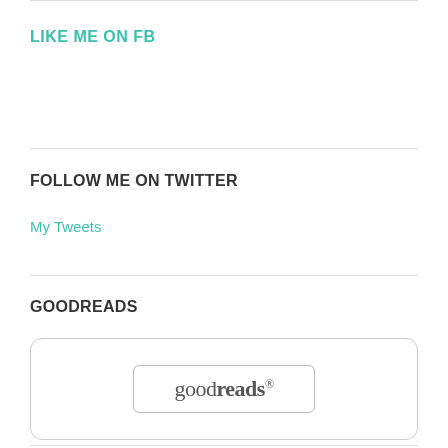LIKE ME ON FB
FOLLOW ME ON TWITTER
My Tweets
GOODREADS
[Figure (logo): Goodreads logo inside a rounded rectangle box]